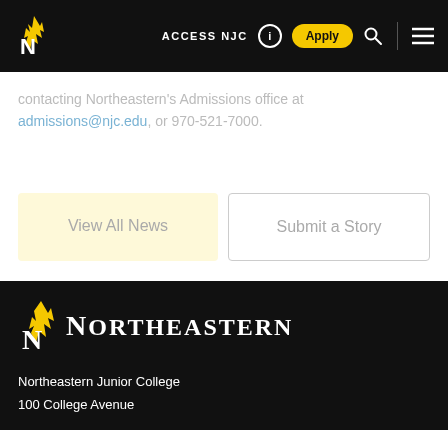ACCESS NJC | Apply | [search] [menu]
contacting Northeastern's Admissions office at admissions@njc.edu, or 970-521-7000.
View All News
Submit a Story
NORTHEASTERN
Northeastern Junior College
100 College Avenue